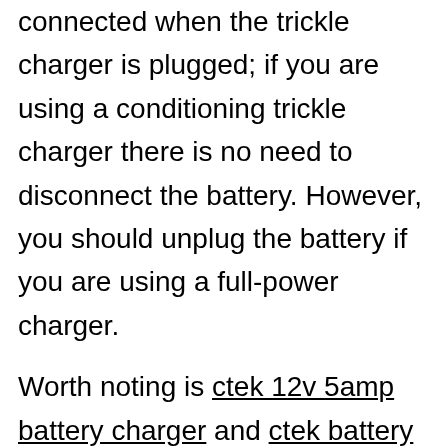connected when the trickle charger is plugged; if you are using a conditioning trickle charger there is no need to disconnect the battery. However, you should unplug the battery if you are using a full-power charger.

Worth noting is ctek 12v 5amp battery charger and ctek battery charger time to go together with